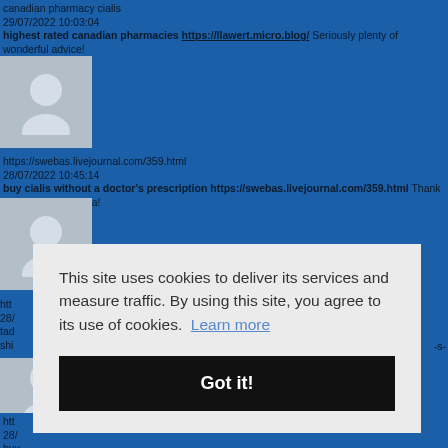[Figure (screenshot): Website screenshot showing forum/comment page with blue background, user avatar placeholders, spam posts about Canadian pharmacy, and a cookie consent banner overlay reading 'This site uses cookies to deliver its services and measure traffic. By using this site, you agree to its use of cookies. Learn more' with a 'Got it!' button.]